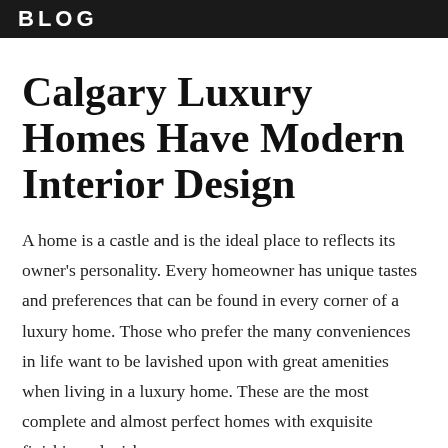BLOG
Calgary Luxury Homes Have Modern Interior Design
A home is a castle and is the ideal place to reflects its owner's personality. Every homeowner has unique tastes and preferences that can be found in every corner of a luxury home. Those who prefer the many conveniences in life want to be lavished upon with great amenities when living in a luxury home. These are the most complete and almost perfect homes with exquisite finishings, lavish